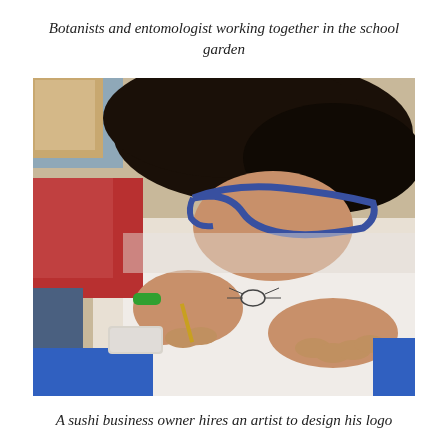Botanists and entomologist working together in the school garden
[Figure (photo): A child with dark hair and blue-rimmed glasses leans closely over a white sheet of paper, drawing or writing with a pencil. The child wears a green wristband and a blue top. A white eraser is visible on the table in the lower left. Red fabric is visible in the background upper left.]
A sushi business owner hires an artist to design his logo